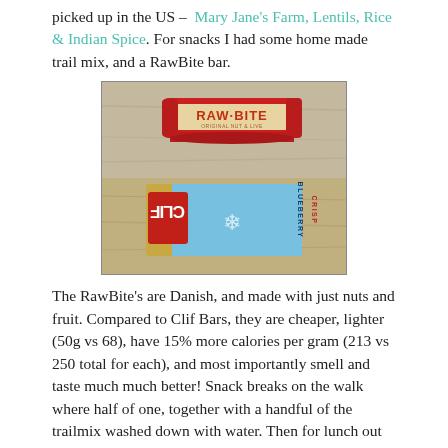picked up in the US – Mary Jane's Farm, Lentils, Rice & Indian Spice. For snacks I had some home made trail mix, and a RawBite bar.
[Figure (photo): Photo of two snack bars on a wooden table: a red RAW·BITE bar on top, and a blue Clif Blueberry Crisp bar below (upside down).]
The RawBite's are Danish, and made with just nuts and fruit. Compared to Clif Bars, they are cheaper, lighter (50g vs 68), have 15% more calories per gram (213 vs 250 total for each), and most importantly smell and taste much much better! Snack breaks on the walk where half of one, together with a handful of the trailmix washed down with water. Then for lunch out came the